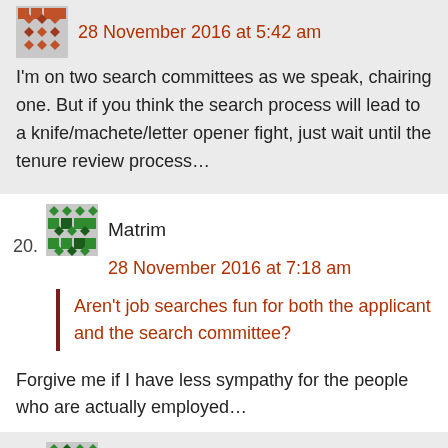28 November 2016 at 5:42 am
I'm on two search committees as we speak, chairing one. But if you think the search process will lead to a knife/machete/letter opener fight, just wait until the tenure review process…
20. Matrim
28 November 2016 at 7:18 am
Aren't job searches fun for both the applicant and the search committee?
Forgive me if I have less sympathy for the people who are actually employed…
21. nathanieltagg
28 November 2016 at 9:26 am